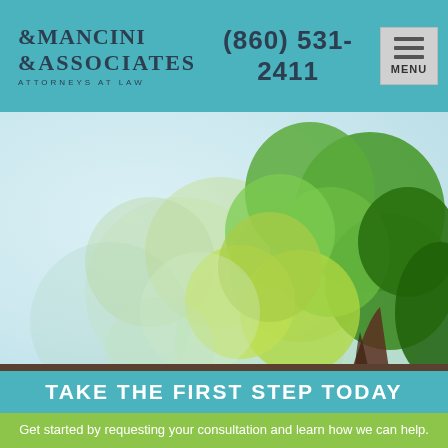MANCINI & ASSOCIATES ATTORNEYS AT LAW | (860) 531-2411 | MENU
[Figure (illustration): Decorative tree illustration with overlapping circular leaf shapes in shades of green, yellow-green, and light teal on a light blue-grey gradient background. Abstract stylized tree with brown trunk at bottom right.]
TAKE THE FIRST STEP TODAY
Get started by requesting your consultation and learn how we can help.